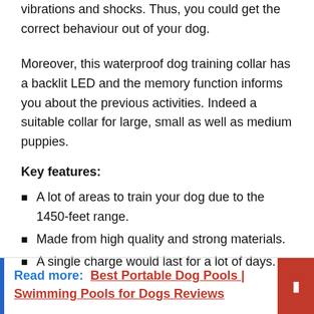vibrations and shocks. Thus, you could get the correct behaviour out of your dog.
Moreover, this waterproof dog training collar has a backlit LED and the memory function informs you about the previous activities. Indeed a suitable collar for large, small as well as medium puppies.
Key features:
A lot of areas to train your dog due to the 1450-feet range.
Made from high quality and strong materials.
A single charge would last for a lot of days.
Read more:  Best Portable Dog Pools | Swimming Pools for Dogs Reviews